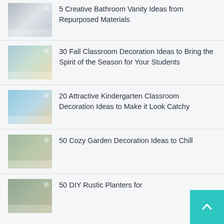5 Creative Bathroom Vanity Ideas from Repurposed Materials
30 Fall Classroom Decoration Ideas to Bring the Spirit of the Season for Your Students
20 Attractive Kindergarten Classroom Decoration Ideas to Make it Look Catchy
50 Cozy Garden Decoration Ideas to Chill
50 DIY Rustic Planters for